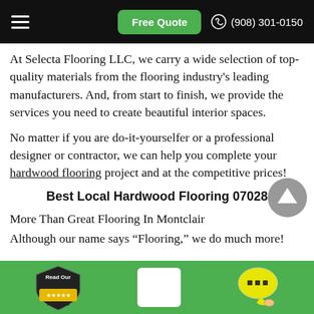Free Quote | (908) 301-0150
At Selecta Flooring LLC, we carry a wide selection of top-quality materials from the flooring industry's leading manufacturers. And, from start to finish, we provide the services you need to create beautiful interior spaces.
No matter if you are do-it-yourselfer or a professional designer or contractor, we can help you complete your hardwood flooring project and at the competitive prices!
Best Local Hardwood Flooring 07028
More Than Great Flooring In Montclair
Although our name says “Flooring,” we do much more!
Read Our Reviews | [white box] | [chat icon]